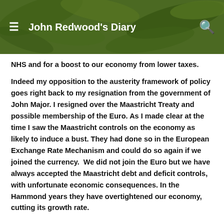John Redwood's Diary
NHS and for a boost to our economy from lower taxes.
Indeed my opposition to the austerity framework of policy goes right back to my resignation from the government of John Major. I resigned over the Maastricht Treaty and possible membership of the Euro. As I made clear at the time I saw the Maastricht controls on the economy as likely to induce a bust. They had done so in the European Exchange Rate Mechanism and could do so again if we joined the currency.  We did not join the Euro but we have always accepted the Maastricht debt and deficit controls, with unfortunate economic consequences. In the Hammond years they have overtightened our economy, cutting its growth rate.